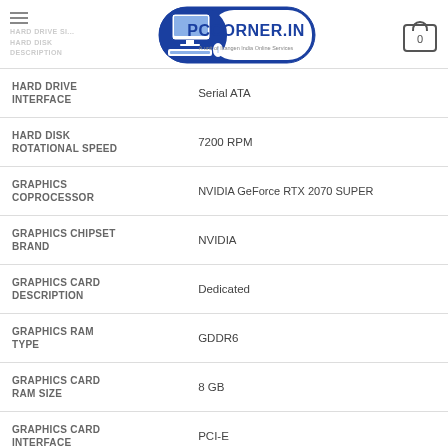PCCORNER.IN — A unit of Icangen India Online Services
| Specification | Value |
| --- | --- |
| HARD DRIVE INTERFACE | Serial ATA |
| HARD DISK ROTATIONAL SPEED | 7200 RPM |
| GRAPHICS COPROCESSOR | NVIDIA GeForce RTX 2070 SUPER |
| GRAPHICS CHIPSET BRAND | NVIDIA |
| GRAPHICS CARD DESCRIPTION | Dedicated |
| GRAPHICS RAM TYPE | GDDR6 |
| GRAPHICS CARD RAM SIZE | 8 GB |
| GRAPHICS CARD INTERFACE | PCI-E |